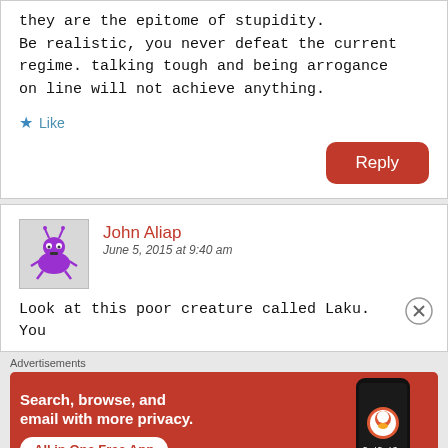they are the epitome of stupidity. Be realistic, you never defeat the current regime. talking tough and being arrogance on line will not achieve anything.
★ Like
Reply
John Aliap
June 5, 2015 at 9:40 am
[Figure (illustration): Purple cartoon alien avatar for John Aliap]
Look at this poor creature called Laku. You
Advertisements
[Figure (infographic): DuckDuckGo advertisement banner: Search, browse, and email with more privacy. All in One Free App. Shows phone with DuckDuckGo logo.]